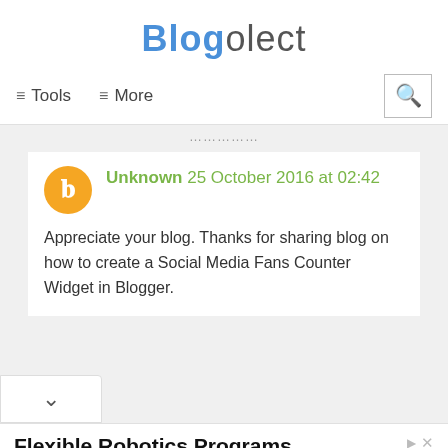Blogolect
≡ Tools  ≡ More
Unknown 25 October 2016 at 02:42
Appreciate your blog. Thanks for sharing blog on how to create a Social Media Fans Counter Widget in Blogger.
Flexible Robotics Programs
Our comprehensive solutions incorporate the most respected brands in the industry Overton Leasing | Centro